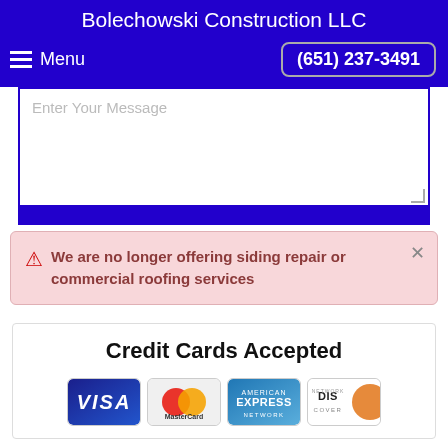Bolechowski Construction LLC
Menu   (651) 237-3491
Enter Your Message
We are no longer offering siding repair or commercial roofing services
Credit Cards Accepted
[Figure (illustration): Logos of four accepted credit cards: Visa, MasterCard, American Express, Discover]